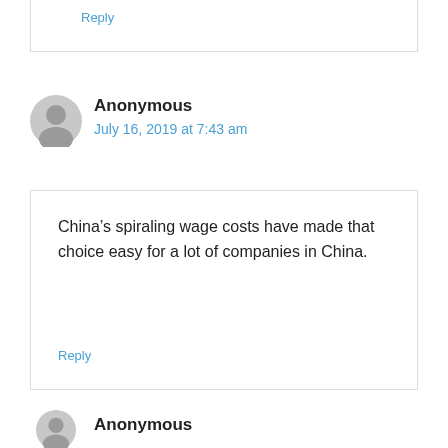Reply
Anonymous
July 16, 2019 at 7:43 am
China’s spiraling wage costs have made that choice easy for a lot of companies in China.
Reply
Anonymous